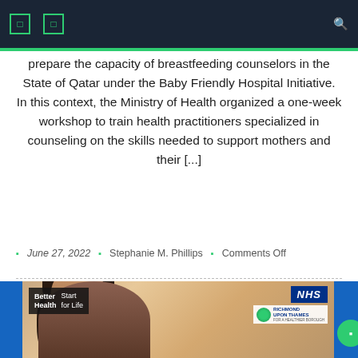Navigation bar with icons and search
prepare the capacity of breastfeeding counselors in the State of Qatar under the Baby Friendly Hospital Initiative. In this context, the Ministry of Health organized a one-week workshop to train health practitioners specialized in counseling on the skills needed to support mothers and their [...]
June 27, 2022  Stephanie M. Phillips  Comments Off
[Figure (photo): Better Health Start for Life campaign image with NHS and Richmond Upon Thames branding, showing a young Asian woman in a hospital or clinical setting. NHS logo top right, Richmond Upon Thames logo below it. Better Health Start for Life text overlay top left.]